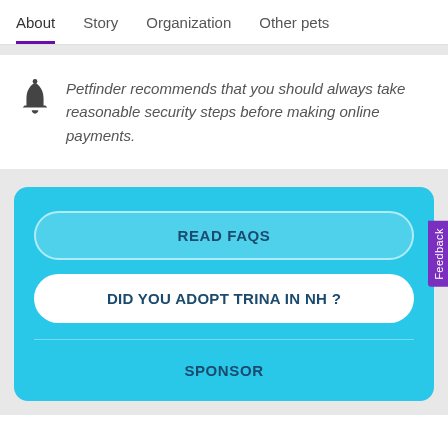About  Story  Organization  Other pets
Petfinder recommends that you should always take reasonable security steps before making online payments.
[Figure (screenshot): Blue card with three buttons: READ FAQS, DID YOU ADOPT TRINA IN NH?, and SPONSOR]
Feedback